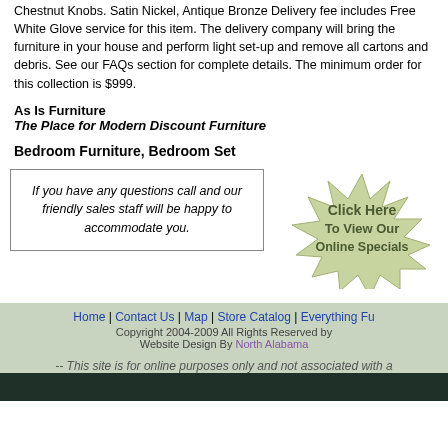Chestnut Knobs. Satin Nickel, Antique Bronze Delivery fee includes Free White Glove service for this item. The delivery company will bring the furniture in your house and perform light set-up and remove all cartons and debris. See our FAQs section for complete details. The minimum order for this collection is $999.
As Is Furniture
The Place for Modern Discount Furniture
Bedroom Furniture, Bedroom Set
If you have any questions call and our friendly sales staff will be happy to accommodate you.
[Figure (other): Starburst graphic with text: Click Here To View Our Online Specials]
Home | Contact Us | Map | Store Catalog | Everything Fu...
Copyright 2004-2009 All Rights Reserved by...
Website Design By North Alabama...
-- This site is for online purposes only and not associated with a...